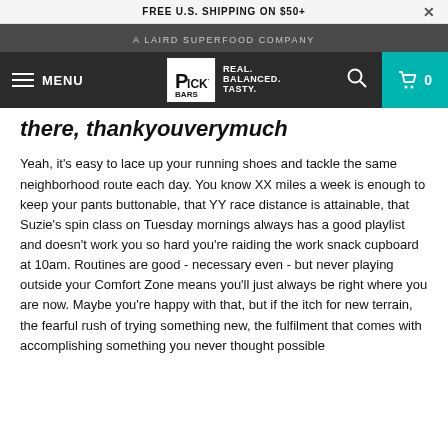FREE U.S. SHIPPING ON $50+
A LAIRD SUPERFOOD COMPANY
MENU | PICKY BARS | REAL. BALANCED. TASTY. | 0
there, thankyouverymuch
Yeah, it's easy to lace up your running shoes and tackle the same neighborhood route each day. You know XX miles a week is enough to keep your pants buttonable, that YY race distance is attainable, that Suzie's spin class on Tuesday mornings always has a good playlist and doesn't work you so hard you're raiding the work snack cupboard at 10am. Routines are good - necessary even - but never playing outside your Comfort Zone means you'll just always be right where you are now. Maybe you're happy with that, but if the itch for new terrain, the fearful rush of trying something new, the fulfilment that comes with accomplishing something you never thought possible